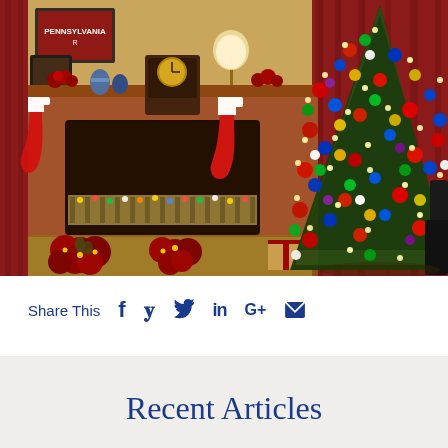[Figure (photo): Interior Christmas scene with a lit fireplace decorated with red stockings and poinsettias, a mantle with a clock and decorative items, a framed Pennsylvania sign on the wall, and a large decorated Christmas tree with colorful ornaments and lights on the right side, with red curtains in the background.]
Share This
Recent Articles